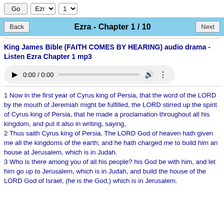Go | Ezr | 1
Ezra - Chapter 1 / 10
King James Bible (FAITH COMES BY HEARING) audio drama - Listen Ezra Chapter 1 mp3
[Figure (other): Audio player widget showing 0:00 / 0:00 with play button, progress bar, volume and more icons]
1 Now in the first year of Cyrus king of Persia, that the word of the LORD by the mouth of Jeremiah might be fulfilled, the LORD stirred up the spirit of Cyrus king of Persia, that he made a proclamation throughout all his kingdom, and put it also in writing, saying,
2 Thus saith Cyrus king of Persia, The LORD God of heaven hath given me all the kingdoms of the earth; and he hath charged me to build him an house at Jerusalem, which is in Judah.
3 Who is there among you of all his people? his God be with him, and let him go up to Jerusalem, which is in Judah, and build the house of the LORD God of Israel, (he is the God,) which is in Jerusalem.